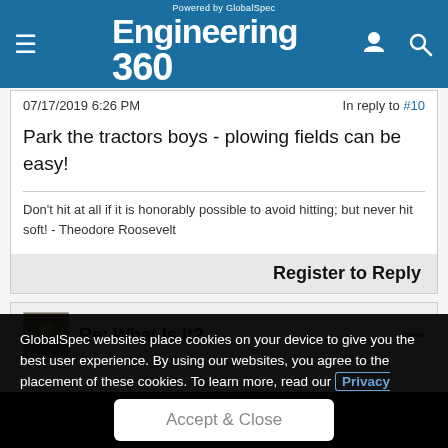Engineering 360 — Powered by GlobalSpec
07/17/2019 6:26 PM
In reply to #10
Park the tractors boys - plowing fields can be easy!
Don't hit at all if it is honorably possible to avoid hitting; but never hit soft! - Theodore Roosevelt
Register to Reply
Re: What Is It?
GlobalSpec websites place cookies on your device to give you the best user experience. By using our websites, you agree to the placement of these cookies. To learn more, read our Privacy Policy
Accept & Close